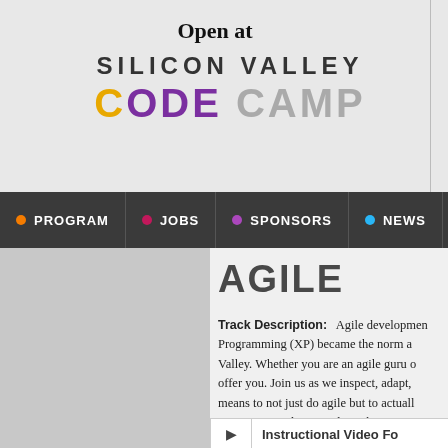Open at
[Figure (logo): Silicon Valley Code Camp logo with colorful stylized text]
PROGRAM | JOBS | SPONSORS | NEWS | ABO
AGILE
Track Description: Agile development... Programming (XP) became the norm a... Valley. Whether you are an agile guru o... offer you. Join us as we inspect, adapt,... means to not just do agile but to actuall... Engineering advisor and coach at Ron... coaching executives in agile for more th...
Instructional Video Fo